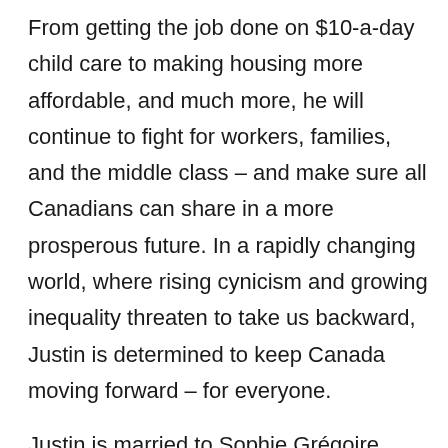From getting the job done on $10-a-day child care to making housing more affordable, and much more, he will continue to fight for workers, families, and the middle class – and make sure all Canadians can share in a more prosperous future. In a rapidly changing world, where rising cynicism and growing inequality threaten to take us backward, Justin is determined to keep Canada moving forward – for everyone.
Justin is married to Sophie Grégoire Trudeau. They are the proud parents of Xavier, Ella-Grace,